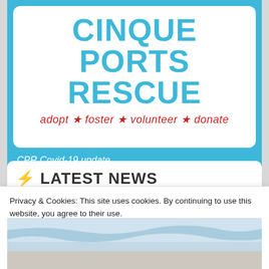CINQUE PORTS RESCUE
adopt ★ foster ★ volunteer ★ donate
CPR Covid-19 update
⚡ LATEST NEWS
[Figure (photo): Beach scene with ocean waves and shoreline]
Privacy & Cookies: This site uses cookies. By continuing to use this website, you agree to their use.
To find out more, including how to control cookies, see here: Privacy Policy
Close and accept